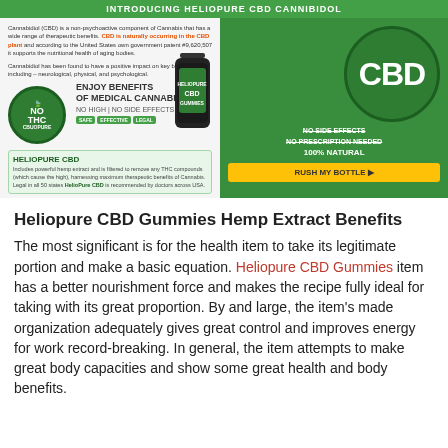[Figure (infographic): Heliopure CBD Cannibidol advertisement banner with green background, NO THC badge, CBD circle graphic, product bottle image, benefits text, and RUSH MY BOTTLE button]
Heliopure CBD Gummies Hemp Extract Benefits
The most significant is for the health item to take its legitimate portion and make a basic equation. Heliopure CBD Gummies item has a better nourishment force and makes the recipe fully ideal for taking with its great proportion. By and large, the item’s made organization adequately gives great control and improves energy for work record-breaking. In general, the item attempts to make great body capacities and show some great health and body benefits.